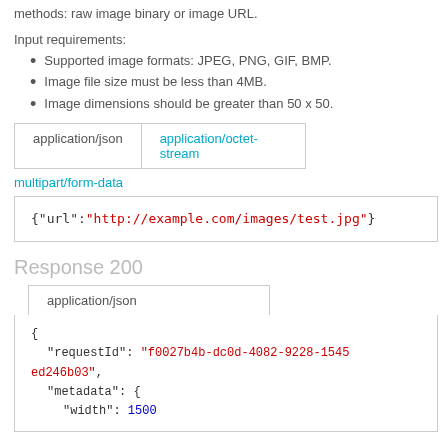methods: raw image binary or image URL.
Input requirements:
Supported image formats: JPEG, PNG, GIF, BMP.
Image file size must be less than 4MB.
Image dimensions should be greater than 50 x 50.
application/json | application/octet-stream
multipart/form-data
{"url":"http://example.com/images/test.jpg"}
Response 200
application/json
{
  "requestId": "f0027b4b-dc0d-4082-9228-1545ed246b03",
  "metadata": {
    "width": 1500